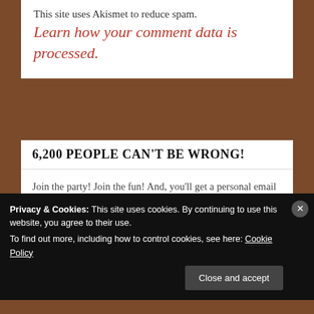This site uses Akismet to reduce spam. Learn how your comment data is processed.
6,200 PEOPLE CAN'T BE WRONG!
Join the party! Join the fun! And, you'll get a personal email from ME with every new blog post!
Enter your email address
Privacy & Cookies: This site uses cookies. By continuing to use this website, you agree to their use.
To find out more, including how to control cookies, see here: Cookie Policy
Close and accept